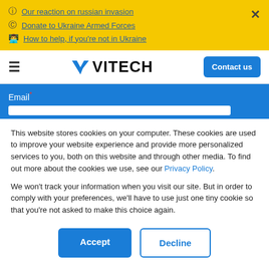Our reaction on russian invasion
Donate to Ukraine Armed Forces
How to help, if you're not in Ukraine
[Figure (logo): VITECH logo with blue arrow/checkmark icon]
Email*
This website stores cookies on your computer. These cookies are used to improve your website experience and provide more personalized services to you, both on this website and through other media. To find out more about the cookies we use, see our Privacy Policy.
We won't track your information when you visit our site. But in order to comply with your preferences, we'll have to use just one tiny cookie so that you're not asked to make this choice again.